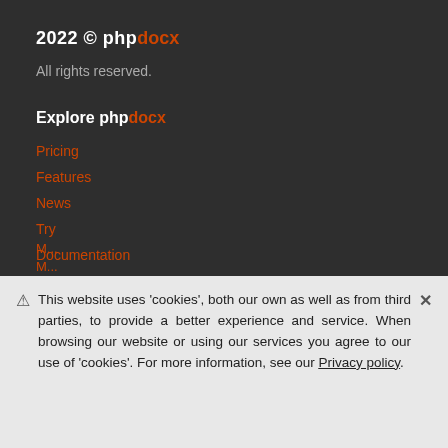2022 © phpdocx
All rights reserved.
Explore phpdocx
Pricing
Features
News
Try
Documentation
Our users
License Conditions
Contact info
This website uses 'cookies', both our own as well as from third parties, to provide a better experience and service. When browsing our website or using our services you agree to our use of 'cookies'. For more information, see our Privacy policy.